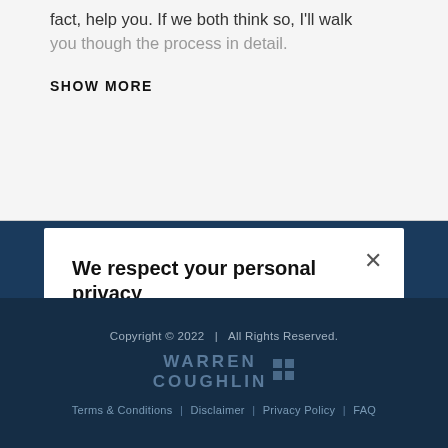fact, help you. If we both think so, I'll walk you though the process in detail.
SHOW MORE
We respect your personal privacy
We use cookies to provide a proactive support, enhance site navigation, analyze site usage, and assist in our marketing efforts. Learn more.
Copyright © 2022   |   All Rights Reserved.
WARREN COUGHLIN
Terms & Conditions  |  Disclaimer  |  Privacy Policy  |  FAQ